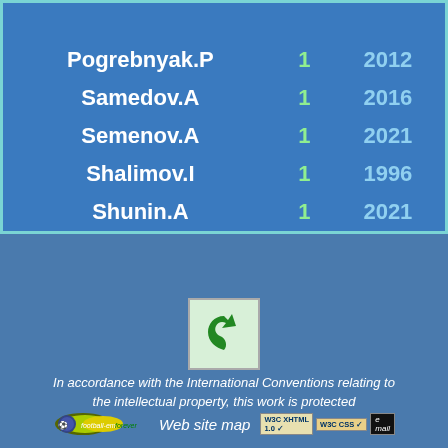| Name | Goals | Year |
| --- | --- | --- |
| Pogrebnyak.P | 1 | 2012 |
| Samedov.A | 1 | 2016 |
| Semenov.A | 1 | 2021 |
| Shalimov.I | 1 | 1996 |
| Shunin.A | 1 | 2021 |
[Figure (logo): Green arrow/recycle icon on light green background]
In accordance with the International Conventions relating to the intellectual property, this work is protected
[Figure (logo): football-em-forever website logo with football graphic, followed by 'Web site map' text, W3C XHTML 1.0, W3C CSS, and email badge icons]